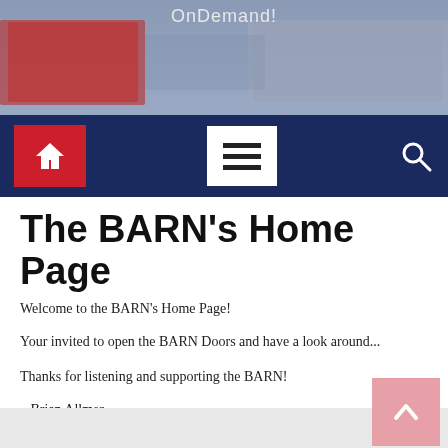OnDemand!
[Figure (screenshot): Website navigation bar with red home button, white hamburger menu button, and search icon on dark navy background]
The BARN’s Home Page
Welcome to the BARN’s Home Page!
Your invited to open the BARN Doors and have a look around...
Thanks for listening and supporting the BARN!
– Brian Allmer